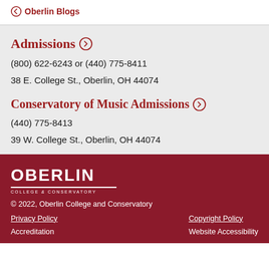← Oberlin Blogs
Admissions →
(800) 622-6243 or (440) 775-8411
38 E. College St., Oberlin, OH 44074
Conservatory of Music Admissions →
(440) 775-8413
39 W. College St., Oberlin, OH 44074
[Figure (logo): Oberlin College & Conservatory logo in white on dark red background]
© 2022, Oberlin College and Conservatory
Privacy Policy   Copyright Policy   Accreditation   Website Accessibility